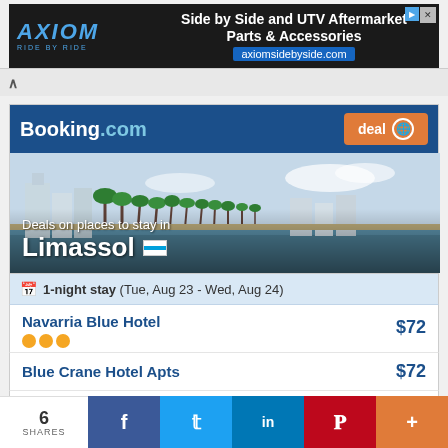[Figure (screenshot): Axiom advertisement banner: Side by Side and UTV Aftermarket Parts & Accessories at axiomsidebyside.com]
[Figure (screenshot): Booking.com widget showing deals on places to stay in Limassol with a coastal city panoramic photo]
1-night stay (Tue, Aug 23 - Wed, Aug 24)
Navarria Blue Hotel $72
Blue Crane Hotel Apts $72
Park Beach Hotel $105
[Figure (screenshot): Social sharing bar with 6 shares, Facebook, Twitter, LinkedIn, Pinterest, and More buttons]